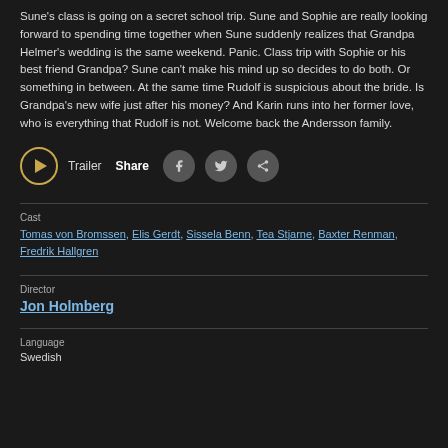Sune's class is going on a secret school trip. Sune and Sophie are really looking forward to spending time together when Sune suddenly realizes that Grandpa Helmer's wedding is the same weekend. Panic. Class trip with Sophie or his best friend Grandpa? Sune can't make his mind up so decides to do both. Or something in between. At the same time Rudolf is suspicious about the bride. Is Grandpa's new wife just after his money? And Karin runs into her former love, who is everything that Rudolf is not. Welcome back the Andersson family.
Trailer  Share
Cast
Tomas von Bromssen, Elis Gerdt, Sissela Benn, Tea Stjarne, Baxter Renman, Fredrik Hallgren
Director
Jon Holmberg
Language
Swedish